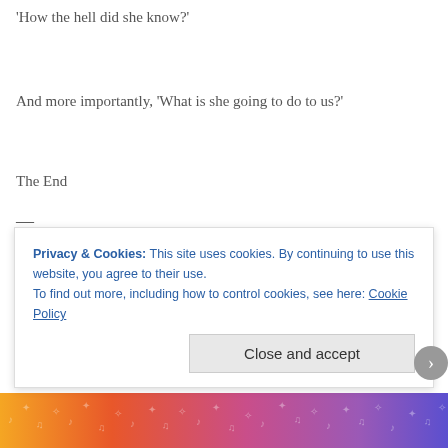'How the hell did she know?'
And more importantly, 'What is she going to do to us?'
The End
—
I hope you got a kick out of that one. I definitely enjoyed writing it. Plea... feedback!
Be Sure To Check Out The Other Stories:
Privacy & Cookies: This site uses cookies. By continuing to use this website, you agree to their use.
To find out more, including how to control cookies, see here: Cookie Policy
Close and accept